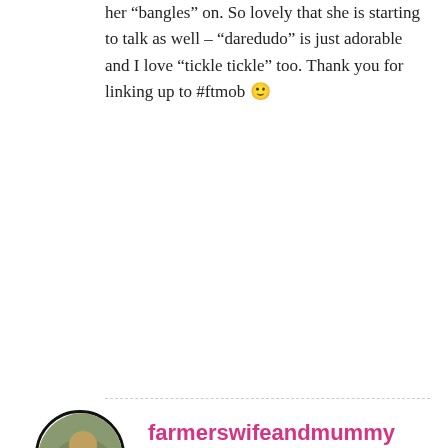her “bangles” on. So lovely that she is starting to talk as well – “daredudo” is just adorable and I love “tickle tickle” too. Thank you for linking up to #ftmob 🙂
Reply
farmerswifeandmummy
— DECEMBER 13, 2015 AT 8:48 PM
aww she is so cute. I love her outfits. You always dress her in such cool things.
She sounds so full of life and mischief-all you could want from a little Diva and I can’t get enough of the sound of laughter either.
Lovely post xx